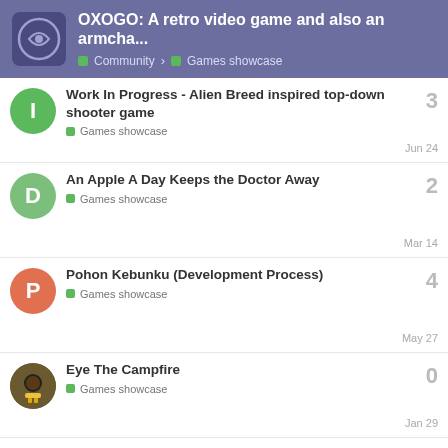OXOGO: A retro video game and also an armcha... | Community > Games showcase
Work In Progress - Alien Breed inspired top-down shooter game | Games showcase | Jun 24 | 3 replies
An Apple A Day Keeps the Doctor Away | Games showcase | Mar 14 | 2 replies
Pohon Kebunku (Development Process) | Games showcase | May 27 | 4 replies
Eye The Campfire | Games showcase | Jan 29 | 0 replies
WordElations - A Word Forming Constellation Web Game (Beta) | Games showcase | 12 replies
1 / 1